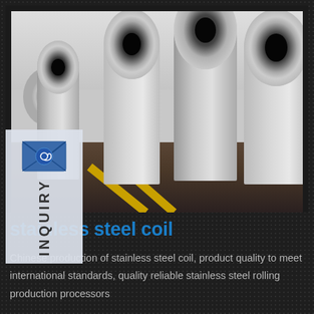[Figure (photo): Industrial warehouse photo showing multiple large stainless steel coils stored on a factory floor, with yellow line markings on the floor and industrial lighting overhead]
[Figure (logo): Inquiry badge with envelope/mail icon and vertical text reading INQUIRY on a light gray background]
stainless steel coil
Chinese production of stainless steel coil, product quality to meet international standards, quality reliable stainless steel rolling production processors